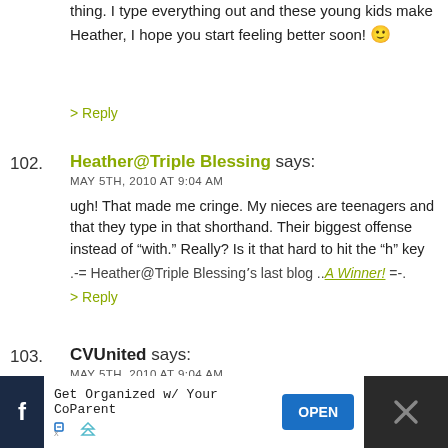thing. I type everything out and these young kids make Heather, I hope you start feeling better soon! :)
> Reply
102. Heather@Triple Blessing says: MAY 5TH, 2010 AT 9:04 AM — ugh! That made me cringe. My nieces are teenagers and that they type in that shorthand. Their biggest offense instead of "with." Really? Is it that hard to hit the "h" key .-= Heather@Triple Blessing's last blog ..A Winner! =-.
> Reply
103. CVUnited says: MAY 5TH, 2010 AT 9:04 AM — wats rong W you? dnt u gt it? GWTP Mike. I do hav2 sA, dis 2 md me feel old. tnx 4t *L*. Hope Heatl thng.
Get Organized w/ Your CoParent   OPEN